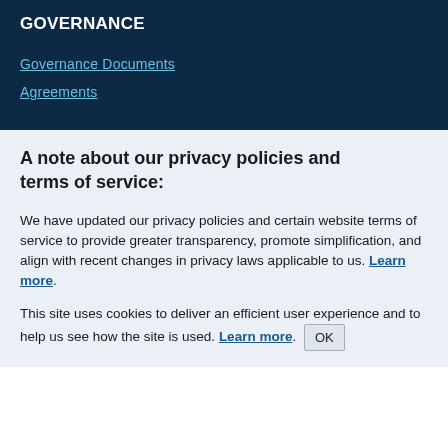GOVERNANCE
Governance Documents
Agreements
A note about our privacy policies and terms of service:
We have updated our privacy policies and certain website terms of service to provide greater transparency, promote simplification, and align with recent changes in privacy laws applicable to us. Learn more.
This site uses cookies to deliver an efficient user experience and to help us see how the site is used. Learn more. OK